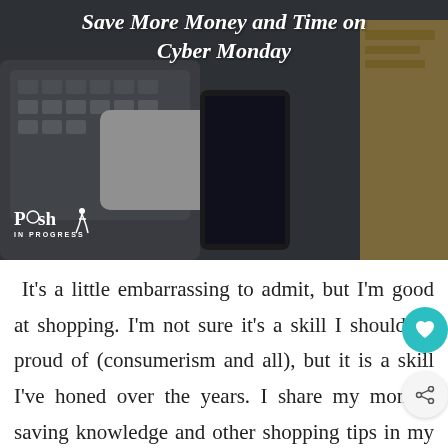[Figure (photo): Hero image showing a laptop keyboard and a phone/tablet on a dark background, with white italic text reading 'Save More Money and Time on Cyber Monday' and the Posh In Progress logo in the lower left]
It's a little embarrassing to admit, but I'm good at shopping. I'm not sure it's a skill I should be proud of (consumerism and all), but it is a skill I've honed over the years. I share my money-saving knowledge and other shopping tips in my online shopping